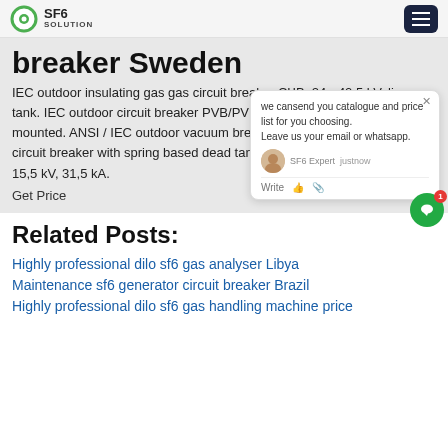SF6 SOLUTION
breaker Sweden
IEC outdoor insulating gas gas circuit breaker CЧB. 24 - 40.5 kV, live tank. IEC outdoor circuit breaker PVB/PVB-S. 12 kV, live or cable-mounted. ANSI / IEC outdoor vacuum breaker R-MEC. Medium Voltage circuit breaker with spring based dead tank vacuum circuit breaker,up to 15,5 kV, 31,5 kA.
Get Price
Related Posts:
Highly professional dilo sf6 gas analyser Libya
Maintenance sf6 generator circuit breaker Brazil
Highly professional dilo sf6 gas handling machine price